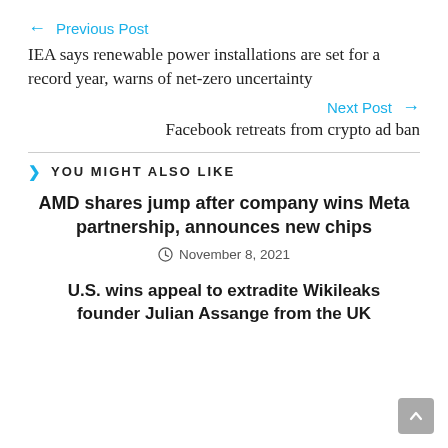← Previous Post
IEA says renewable power installations are set for a record year, warns of net-zero uncertainty
Next Post →
Facebook retreats from crypto ad ban
YOU MIGHT ALSO LIKE
AMD shares jump after company wins Meta partnership, announces new chips
November 8, 2021
U.S. wins appeal to extradite Wikileaks founder Julian Assange from the UK